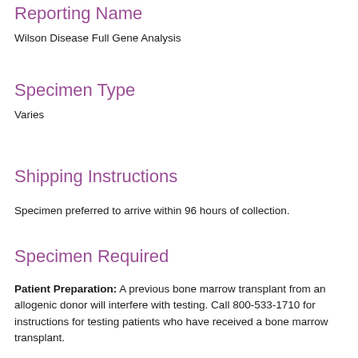Reporting Name
Wilson Disease Full Gene Analysis
Specimen Type
Varies
Shipping Instructions
Specimen preferred to arrive within 96 hours of collection.
Specimen Required
Patient Preparation: A previous bone marrow transplant from an allogenic donor will interfere with testing. Call 800-533-1710 for instructions for testing patients who have received a bone marrow transplant.